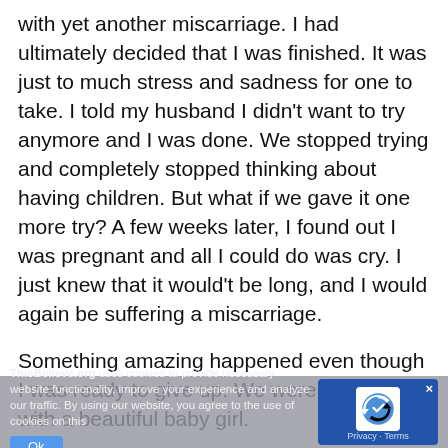with yet another miscarriage. I had ultimately decided that I was finished. It was just to much stress and sadness for one to take. I told my husband I didn't want to try anymore and I was done. We stopped trying and completely stopped thinking about having children. But what if we gave it one more try? A few weeks later, I found out I was pregnant and all I could do was cry. I just knew that it would't be long, and I would again be suffering a miscarriage.
Something amazing happened even though I was ready to give up. We were blessed with a beautiful baby girl.
However, she made my experience not away the times we went through were, this blessed little child was worth every minute of it. She taught me that no
ThisBelieve.org uses cookies to provide necessary website functionality, improve your experience and analyze our traffic. By using our website, you agree to the use of cookies on this